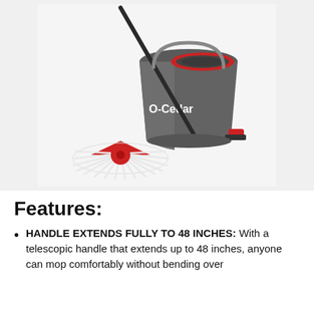[Figure (photo): O-Cedar spin mop and bucket system. Dark gray bucket with red accents and O-Cedar branding. A black telescopic mop handle leans against the bucket. A round white microfiber mop head with red center sits in front of the bucket.]
Features:
HANDLE EXTENDS FULLY TO 48 INCHES: With a telescopic handle that extends up to 48 inches, anyone can mop comfortably without bending over